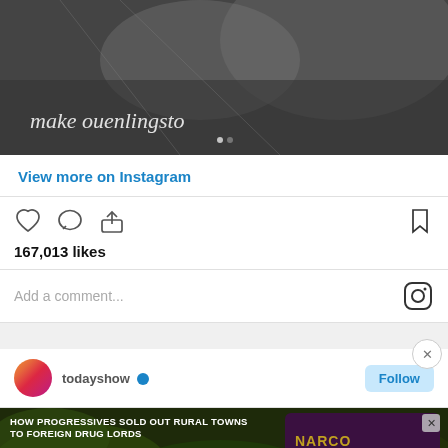[Figure (photo): Black and white Instagram post image showing fabric or material with old English style text reading 'make ouenlingsto']
View more on Instagram
[Figure (infographic): Instagram action icons: heart (like), comment bubble, share/upload arrow on left; bookmark icon on right]
167,013 likes
Add a comment...
[Figure (screenshot): Advertisement banner: 'HOW PROGRESSIVES SOLD OUT RURAL TOWNS TO FOREIGN DRUG LORDS' NARCOFORNIA, WATCH NOW button]
todayshow